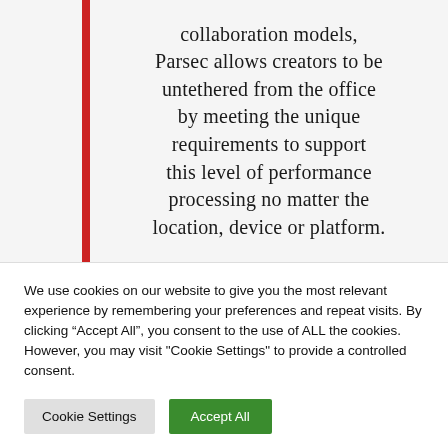collaboration models, Parsec allows creators to be untethered from the office by meeting the unique requirements to support this level of performance processing no matter the location, device or platform.
We use cookies on our website to give you the most relevant experience by remembering your preferences and repeat visits. By clicking “Accept All”, you consent to the use of ALL the cookies. However, you may visit "Cookie Settings" to provide a controlled consent.